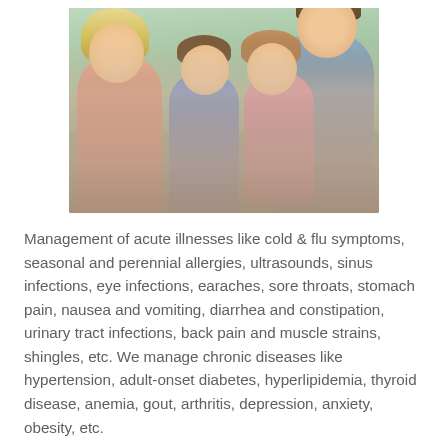[Figure (photo): A smiling family of four — mother with blonde hair, two young girls, and a father — posed together outdoors with a green blurred background.]
Management of acute illnesses like cold & flu symptoms, seasonal and perennial allergies, ultrasounds, sinus infections, eye infections, earaches, sore throats, stomach pain, nausea and vomiting, diarrhea and constipation, urinary tract infections, back pain and muscle strains, shingles, etc. We manage chronic diseases like hypertension, adult-onset diabetes, hyperlipidemia, thyroid disease, anemia, gout, arthritis, depression, anxiety, obesity, etc.